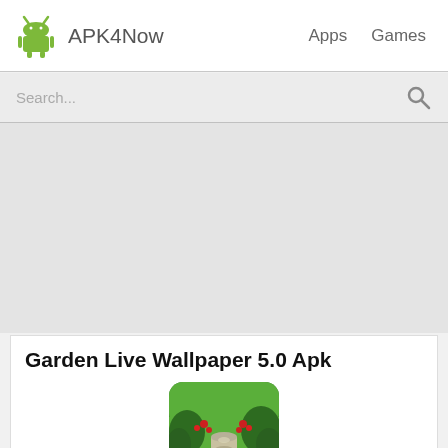APK4Now   Apps   Games
Search...
[Figure (screenshot): Garden app icon showing green garden with red flowers and stone path]
Garden Live Wallpaper 5.0 Apk